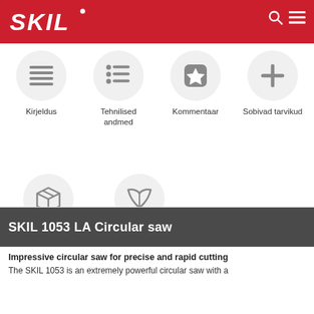[Figure (logo): SKIL brand logo in white on red background, top left header]
[Figure (infographic): Navigation icon: Kirjeldus (text alignment icon in circle)]
[Figure (infographic): Navigation icon: Tehnilised andmed (list icon in circle)]
[Figure (infographic): Navigation icon: Kommentaar (star/badge icon in circle)]
[Figure (infographic): Navigation icon: Sobivad tarvikud (plus icon in circle)]
[Figure (infographic): Navigation icon: Pakend sisaldab (box/package icon in circle)]
[Figure (infographic): Navigation icon: Kasutusjuhendid (open book icon in circle)]
SKIL 1053 LA Circular saw
Impressive circular saw for precise and rapid cutting
The SKIL 1053 is an extremely powerful circular saw with a